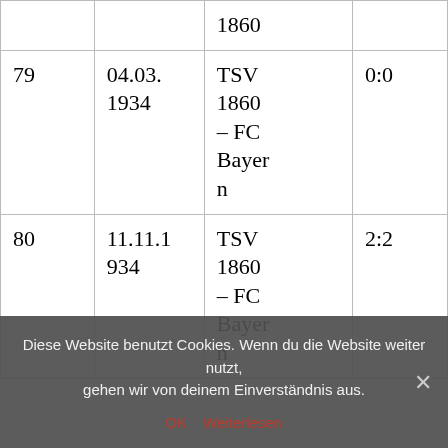|  |  | 1860 |  |
| 79 | 04.03.
1934 | TSV 1860 – FC Bayern | 0:0 |
| 80 | 11.11.1934 | TSV 1860 – FC Bayern | 2:2 |
Diese Website benutzt Cookies. Wenn du die Website weiter nutzt, gehen wir von deinem Einverständnis aus.
OK   Weiterlesen